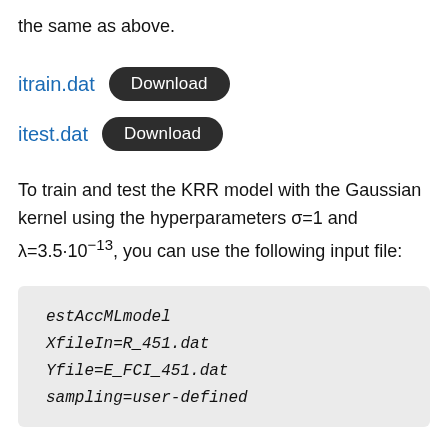the same as above.
itrain.dat  Download
itest.dat  Download
To train and test the KRR model with the Gaussian kernel using the hyperparameters σ=1 and λ=3.5·10⁻¹³, you can use the following input file:
estAccMLmodel
XfileIn=R_451.dat
Yfile=E_FCI_451.dat
sampling=user-defined